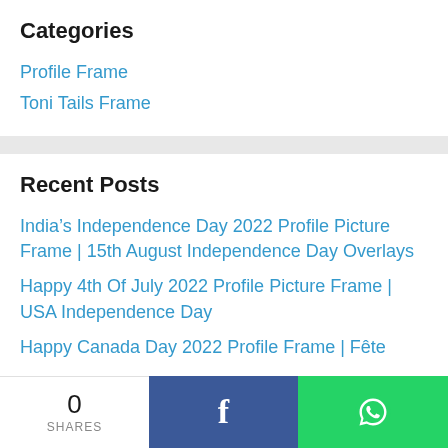Categories
Profile Frame
Toni Tails Frame
Recent Posts
India’s Independence Day 2022 Profile Picture Frame | 15th August Independence Day Overlays
Happy 4th Of July 2022 Profile Picture Frame | USA Independence Day
Happy Canada Day 2022 Profile Frame | Fête
0 SHARES